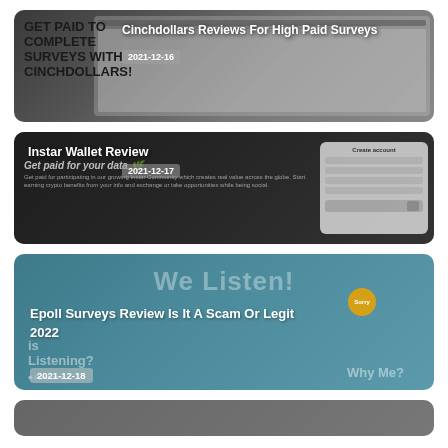[Figure (screenshot): Card thumbnail for Cinchdollars Reviews article showing a website screenshot with 'GET PAID TO COMPLETE SURVEYS WITH CINCHDOLLARS!' text]
Cinchdollars Reviews For High Paid Surveys
2021-12-16
[Figure (screenshot): Card thumbnail for Instar Wallet Review article showing a website screenshot with 'Get paid for your data' text and a Create account form]
Instar Wallet Review
2021-12-17
[Figure (screenshot): Card thumbnail for Epoll Surveys Review article showing teal background with 'We Listen!' text and 'Is Listening?' and 'Why Me?' text]
Epoll Surveys Review Is It A Scam Or Legit 2022
2021-12-18
[Figure (screenshot): Partial card thumbnail at bottom of page, cut off]